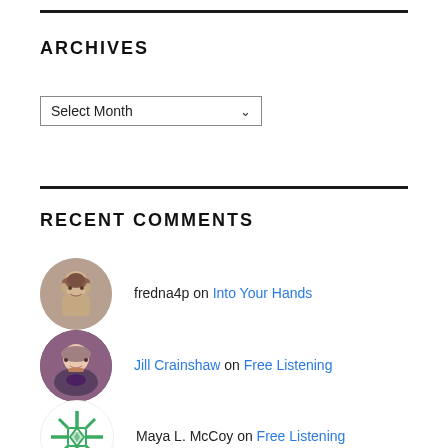ARCHIVES
Select Month
RECENT COMMENTS
fredna4p on Into Your Hands
Jill Crainshaw on Free Listening
Maya L. McCoy on Free Listening